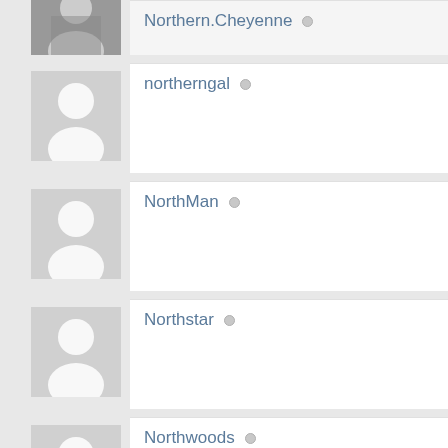[Figure (photo): Profile photo of Northern.Cheyenne user — person in gray shirt]
Northern.Cheyenne ○
[Figure (photo): Default gray avatar silhouette for northerngal]
northerngal ○
[Figure (photo): Default gray avatar silhouette for NorthMan]
NorthMan ○
[Figure (photo): Default gray avatar silhouette for Northstar]
Northstar ○
[Figure (photo): Default gray avatar silhouette for Northwoods]
Northwoods ○
[Figure (photo): Default gray avatar silhouette for Not All Who Wander]
Not All Who Wander ○
[Figure (photo): Default gray avatar silhouette for Nothos]
Nothos ○
[Figure (photo): Default gray avatar silhouette for Nparrish34689]
Nparrish34689 ○